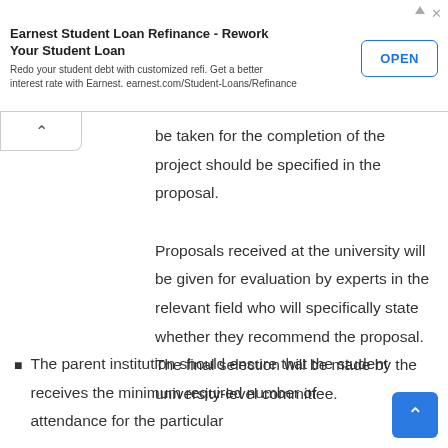[Figure (other): Advertisement banner: Earnest Student Loan Refinance - Rework Your Student Loan. Redo your student debt with customized refi. Get a better interest rate with Earnest. earnest.com/Student-Loans/Refinance. OPEN button.]
be taken for the completion of the project should be specified in the proposal. Proposals received at the university will be given for evaluation by experts in the relevant field who will specifically state whether they recommend the proposal. The final selection will be made by the university-level committee.
The parent institution should ensure that the student receives the minimum required number of attendance for the particular